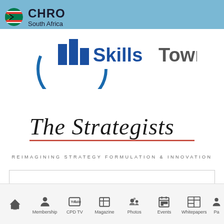CHRO South Africa
[Figure (logo): SkillsTown logo with blue bars and circular arc graphic]
[Figure (logo): The Strategists cursive logo with red underline and tagline REIMAGINING STRATEGY FORMULATION & INNOVATION]
How can I assist you?
[Figure (screenshot): Navigation bar with icons: Home, Membership, CPD TV (YouTube), Magazine, Photos, Events, Whitepapers, Pa...]